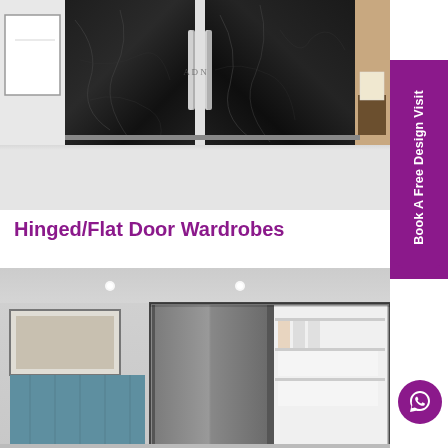[Figure (photo): Interior photo of luxury black marble sliding/hinged wardrobe doors with chrome handles in a bedroom setting, with white floor and a lamp visible in background]
Hinged/Flat Door Wardrobes
[Figure (photo): Interior bedroom photo showing grey sliding wardrobe doors with a blue tufted headboard bed visible and an artwork frame on the wall]
Book A Free Design Visit